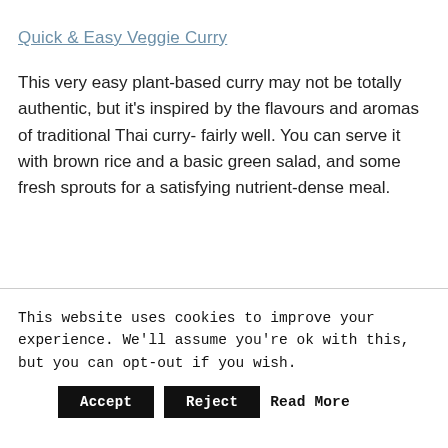Quick & Easy Veggie Curry
This very easy plant-based curry may not be totally authentic, but it’s inspired by the flavours and aromas of traditional Thai curry- fairly well. You can serve it with brown rice and a basic green salad, and some fresh sprouts for a satisfying nutrient-dense meal.
This website uses cookies to improve your experience. We’ll assume you’re ok with this, but you can opt-out if you wish.
Accept   Reject   Read More